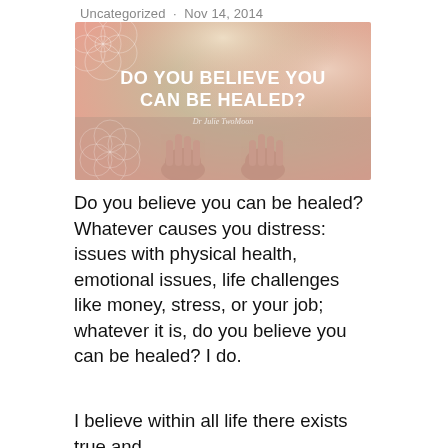Uncategorized · Nov 14, 2014
[Figure (illustration): Promotional image with upturned open hands against a warm pink and gold background with geometric sacred geometry patterns in the corners. Bold white text reads: DO YOU BELIEVE YOU CAN BE HEALED? with a script signature reading Dr Julie TwoMoon]
Do you believe you can be healed? Whatever causes you distress: issues with physical health, emotional issues, life challenges like money, stress, or your job; whatever it is, do you believe you can be healed? I do.
I believe within all life there exists true and